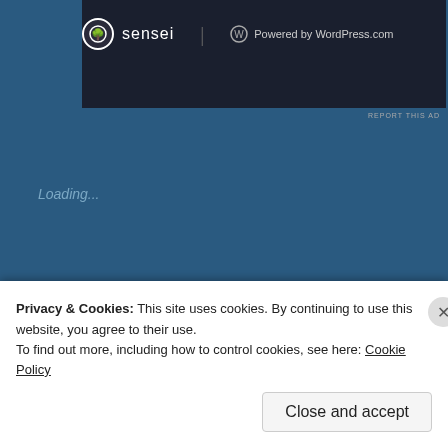[Figure (screenshot): Advertisement banner with dark background showing 'sensei' logo (circle icon with tree) and 'Powered by WordPress.com' text on right]
REPORT THIS AD
Loading...
Related
[Figure (photo): Left related article thumbnail - appears to show an animal (wolf or bear), grayscale/yellow tones]
[Figure (photo): Right related article thumbnail - dark image with figure]
Privacy & Cookies: This site uses cookies. By continuing to use this website, you agree to their use.
To find out more, including how to control cookies, see here: Cookie Policy
Close and accept